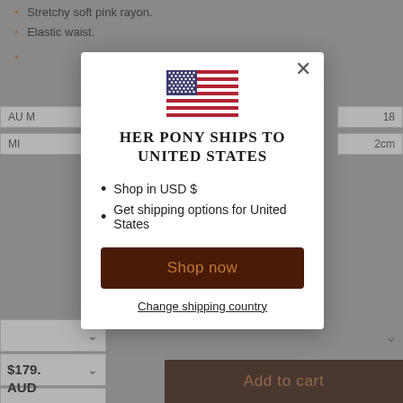Stretchy soft pink rayon.
Elastic waist.
Belt not included.
[Figure (screenshot): Modal popup with US flag, heading 'HER PONY SHIPS TO UNITED STATES', bullet points about USD and shipping, Shop now button, and Change shipping country link]
HER PONY SHIPS TO UNITED STATES
Shop in USD $
Get shipping options for United States
Shop now
Change shipping country
$179. AUD